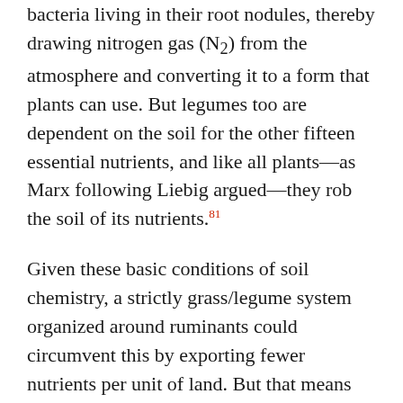bacteria living in their root nodules, thereby drawing nitrogen gas (N₂) from the atmosphere and converting it to a form that plants can use. But legumes too are dependent on the soil for the other fifteen essential nutrients, and like all plants—as Marx following Liebig argued—they rob the soil of its nutrients.⁸¹
Given these basic conditions of soil chemistry, a strictly grass/legume system organized around ruminants could circumvent this by exporting fewer nutrients per unit of land. But that means that grains would need to be imported, because the system would no longer be self-sufficient in the production of food, and particularly the grains that fed the nineteenth-century working class. Moreover, the actual attempts constantly to expand production in the high-farming-period within a livestock-based system, required energy-intensive fertilizer inputs. When agriculture became a capitalist enterprise it needed to try to